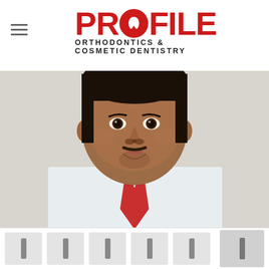PROFILE Orthodontics & Cosmetic Dentistry
[Figure (photo): Professional headshot of a male dentist/orthodontist wearing a white dress shirt and red patterned tie, with short dark hair and a goatee, photographed against a light gray background.]
[Figure (other): Navigation thumbnail strip with 5 small icon buttons and one larger active/selected button on the right side.]